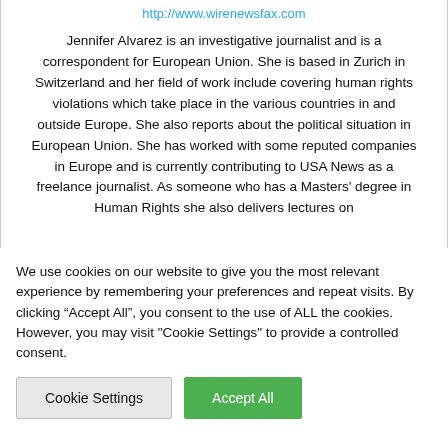http://www.wirenewsfax.com
Jennifer Alvarez is an investigative journalist and is a correspondent for European Union. She is based in Zurich in Switzerland and her field of work include covering human rights violations which take place in the various countries in and outside Europe. She also reports about the political situation in European Union. She has worked with some reputed companies in Europe and is currently contributing to USA News as a freelance journalist. As someone who has a Masters' degree in Human Rights she also delivers lectures on
We use cookies on our website to give you the most relevant experience by remembering your preferences and repeat visits. By clicking “Accept All”, you consent to the use of ALL the cookies. However, you may visit "Cookie Settings" to provide a controlled consent.